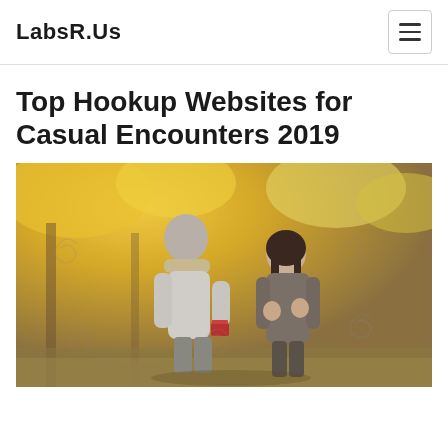LabsR.Us
Top Hookup Websites for Casual Encounters 2019
[Figure (photo): A man kneeling and presenting a ring box to a smiling woman in an autumn outdoor setting with yellow foliage background. Stock photo with watermark spirals.]